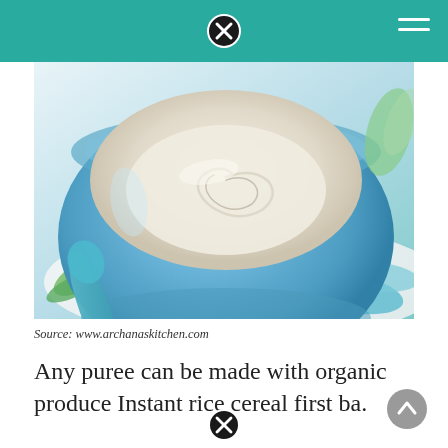[Figure (photo): A blue bowl containing creamy white rice porridge or puree, placed on a floral patterned cloth with teal and green colors]
Source: www.archanaskitchen.com
Any puree can be made with organic produce Instant rice cereal first ba.